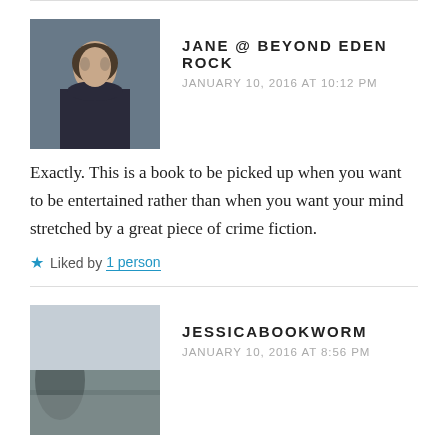[Figure (photo): Avatar photo of Jane, a woman with dark hair in a painted portrait style]
JANE @ BEYOND EDEN ROCK
JANUARY 10, 2016 AT 10:12 PM
Exactly. This is a book to be picked up when you want to be entertained rather than when you want your mind stretched by a great piece of crime fiction.
Liked by 1 person
[Figure (photo): Avatar photo of Jessicabookworm, a landscape photo with mountains and water]
JESSICABOOKWORM
JANUARY 10, 2016 AT 8:56 PM
Sounds like a good cosy crime. I am very attracted to